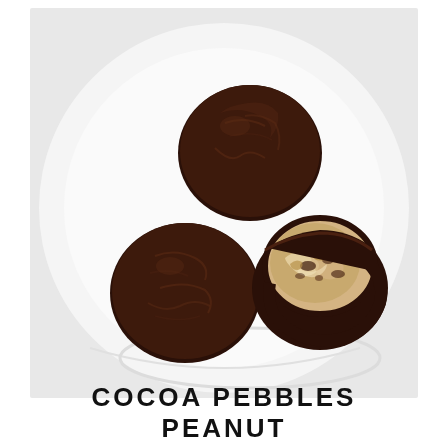[Figure (photo): Three dark chocolate truffles on a white plate. Two are whole round balls with a dark brown chocolate coating. One is cut in half revealing a creamy peanut butter filling inside the dark chocolate shell.]
COCOA PEBBLES PEANUT